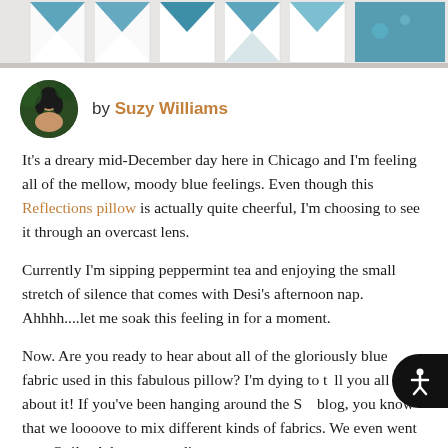[Figure (photo): Top cropped photo showing a blue and white quilt pattern against a light background]
by Suzy Williams
It's a dreary mid-December day here in Chicago and I'm feeling all of the mellow, moody blue feelings. Even though this Reflections pillow is actually quite cheerful, I'm choosing to see it through an overcast lens.
Currently I'm sipping peppermint tea and enjoying the small stretch of silence that comes with Desi's afternoon nap. Ahhhh....let me soak this feeling in for a moment.
Now. Are you ready to hear about all of the gloriously blue fabric used in this fabulous pillow? I'm dying to tell you all about it! If you've been hanging around the SQ blog, you know that we loooove to mix different kinds of fabrics. We even went on a Quilty Adventure to discover